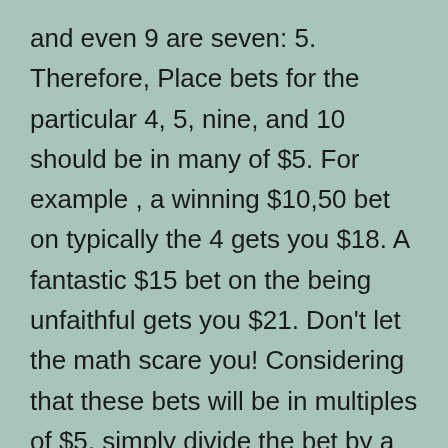and even 9 are seven: 5. Therefore, Place bets for the particular 4, 5, nine, and 10 should be in many of $5. For example , a winning $10,50 bet on typically the 4 gets you $18. A fantastic $15 bet on the being unfaithful gets you $21. Don't let the math scare you! Considering that these bets will be in multiples of $5, simply divide the bet by a few and then increase by winning probabilities to find out your earning amount. So, for your $10 Place bet around the four (which has Spot odds of nine: 5), $10 split by 5 sama dengan $2, and $2 x 9 = $18. For the $15 Place bet around the 9 (which has